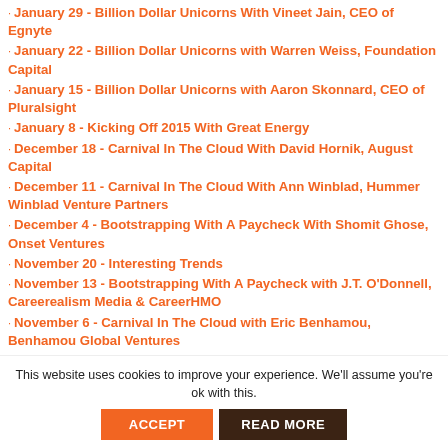January 29 - Billion Dollar Unicorns With Vineet Jain, CEO of Egnyte
January 22 - Billion Dollar Unicorns with Warren Weiss, Foundation Capital
January 15 - Billion Dollar Unicorns with Aaron Skonnard, CEO of Pluralsight
January 8 - Kicking Off 2015 With Great Energy
December 18 - Carnival In The Cloud With David Hornik, August Capital
December 11 - Carnival In The Cloud With Ann Winblad, Hummer Winblad Venture Partners
December 4 - Bootstrapping With A Paycheck With Shomit Ghose, Onset Ventures
November 20 - Interesting Trends
November 13 - Bootstrapping With A Paycheck with J.T. O'Donnell, Careerealism Media & CareerHMO
November 6 - Carnival In The Cloud with Eric Benhamou, Benhamou Global Ventures
October 30 - Three Revenue Generating Companies
This website uses cookies to improve your experience. We'll assume you're ok with this.
ACCEPT
READ MORE